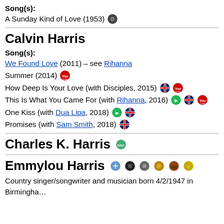Song(s):
A Sunday Kind of Love (1953) [icon]
Calvin Harris
Song(s):
We Found Love (2011) – see Rihanna
Summer (2014) [icon]
How Deep Is Your Love (with Disciples, 2015) [icons]
This Is What You Came For (with Rihanna, 2016) [icons]
One Kiss (with Dua Lipa, 2018) [icons]
Promises (with Sam Smith, 2018) [icon]
Charles K. Harris [icon]
Emmylou Harris [icons]
Country singer/songwriter and musician born 4/2/1947 in Birmingha…